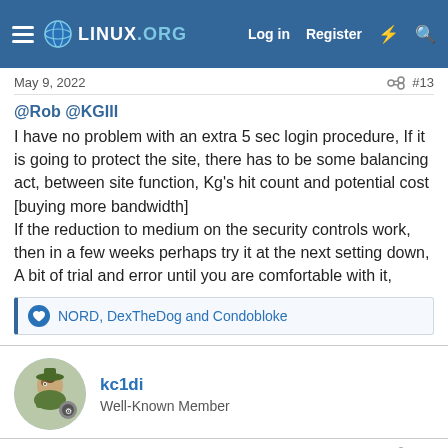Linux.org — Log in Register
May 9, 2022  #13
@Rob @KGIII
I have no problem with an extra 5 sec login procedure, If it is going to protect the site, there has to be some balancing act, between site function, Kg's hit count and potential cost [buying more bandwidth]
If the reduction to medium on the security controls work, then in a few weeks perhaps try it at the next setting down, A bit of trial and error until you are comfortable with it,
NORD, DexTheDog and Condobloke
kc1di
Well-Known Member
May 9, 2022  #14
I too have no problem with the extra 5 seconds, Better than the